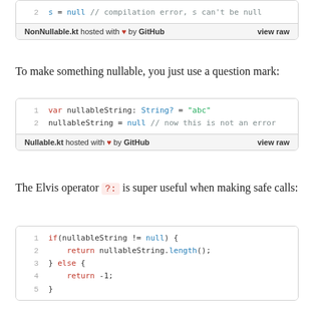[Figure (screenshot): Code block showing line 2: s = null // compilation error, s can't be null, with NonNullable.kt footer hosted on GitHub]
To make something nullable, you just use a question mark:
[Figure (screenshot): Code block with two lines: 1) var nullableString: String? = "abc"  2) nullableString = null // now this is not an error, with Nullable.kt footer hosted on GitHub]
The Elvis operator ?: is super useful when making safe calls:
[Figure (screenshot): Code block with 5 lines: 1) if(nullableString != null) { 2) return nullableString.length(); 3) } else { 4) return -1; 5) }]